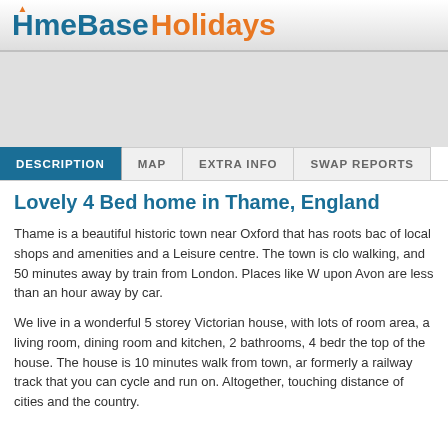HomeBase Holidays
[Figure (photo): Gray image placeholder area for property photo]
DESCRIPTION | MAP | EXTRA INFO | SWAP REPORTS
Lovely 4 Bed home in Thame, England
Thame is a beautiful historic town near Oxford that has roots back of local shops and amenities and a Leisure centre. The town is close walking, and 50 minutes away by train from London. Places like W upon Avon are less than an hour away by car.
We live in a wonderful 5 storey Victorian house, with lots of room area, a living room, dining room and kitchen, 2 bathrooms, 4 bed the top of the house. The house is 10 minutes walk from town, and formerly a railway track that you can cycle and run on. Altogether, touching distance of cities and the country.